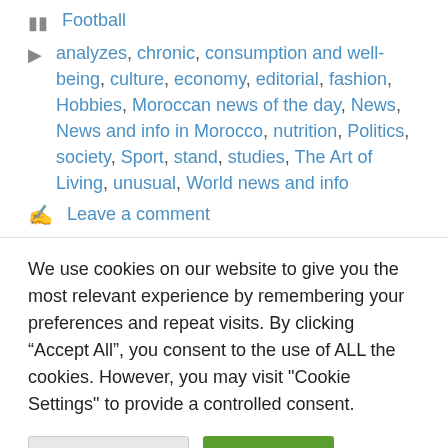Football
analyzes, chronic, consumption and well-being, culture, economy, editorial, fashion, Hobbies, Moroccan news of the day, News, News and info in Morocco, nutrition, Politics, society, Sport, stand, studies, The Art of Living, unusual, World news and info
Leave a comment
We use cookies on our website to give you the most relevant experience by remembering your preferences and repeat visits. By clicking “Accept All”, you consent to the use of ALL the cookies. However, you may visit "Cookie Settings" to provide a controlled consent.